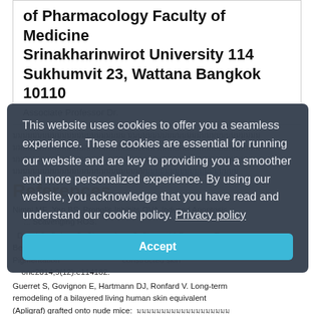of Pharmacology Faculty of Medicine Srinakharinwirot University 114 Sukhumvit 23, Wattana Bangkok 10110
Associate Professor Dr.
[Thai text — abstract body in Thai script]
References
Nimni ME, Yao BS. Propolis Inhibits OVA-Induced Apoptosis and Antioxidant Capacity by Scavenging ROS.
Duval C, Cohen C, Chagnoleau C, Flouret V, Bourreau E, Bernerd F. Key Regulatory Role of Dermal Fibroblasts in Pigmentation... constructed skin one2014;9(12):e114182.
Guerret S, Govignon E, Hartmann DJ, Ronfard V. Long-term remodeling of a bilayered living human skin equivalent (Apligraf) grafted onto nude mice: [Thai text]
This website uses cookies to offer you a seamless experience. These cookies are essential for running our website and are key to providing you a smoother and more personalized experience. By using our website, you acknowledge that you have read and understand our cookie policy. Privacy policy
Accept